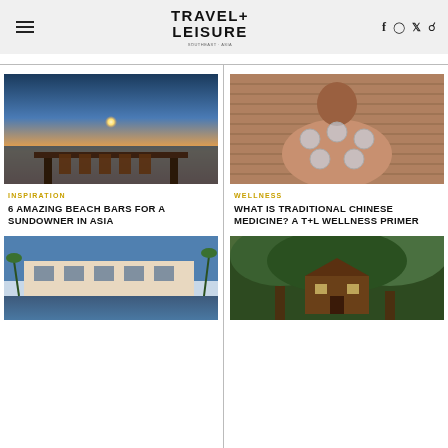Travel + Leisure
[Figure (photo): Beach bar at sunset with chairs overlooking the ocean in Asia]
INSPIRATION
6 AMAZING BEACH BARS FOR A SUNDOWNER IN ASIA
[Figure (photo): Person receiving traditional Chinese cupping therapy on their back]
WELLNESS
WHAT IS TRADITIONAL CHINESE MEDICINE? A T+L WELLNESS PRIMER
[Figure (photo): Resort pool area with palm trees at dusk]
[Figure (photo): Treehouse structure nestled among large trees in a forest]